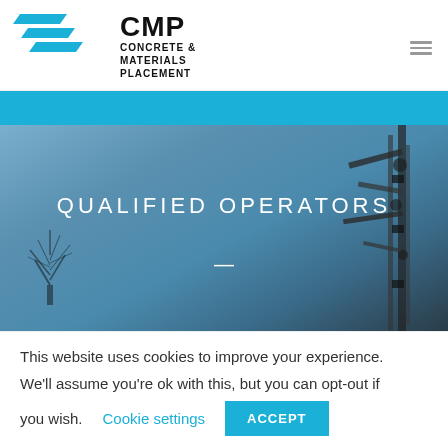[Figure (logo): CMP Concrete & Materials Placement company logo with blue chevron stripes and bold CMP text]
[Figure (photo): Hero image showing concrete pump equipment/crane against a blue sky with bare tree silhouette on the left. Overlaid text reads QUALIFIED OPERATORS, a dash, and Become A Pump]
This website uses cookies to improve your experience. We'll assume you're ok with this, but you can opt-out if you wish. Cookie settings ACCEPT